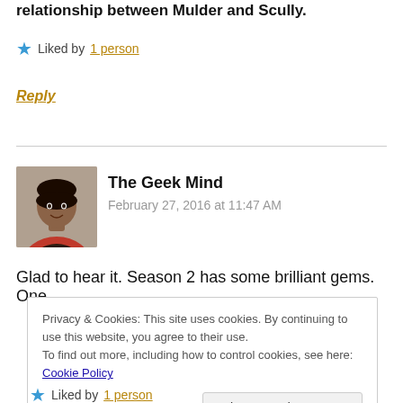relationship between Mulder and Scully.
★ Liked by 1 person
Reply
[Figure (photo): Profile photo of The Geek Mind commenter]
The Geek Mind
February 27, 2016 at 11:47 AM
Glad to hear it. Season 2 has some brilliant gems. One
Privacy & Cookies: This site uses cookies. By continuing to use this website, you agree to their use.
To find out more, including how to control cookies, see here: Cookie Policy
Close and accept
★ Liked by 1 person